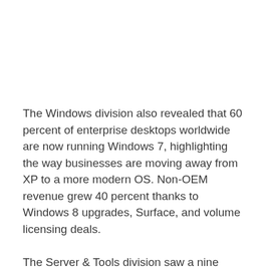The Windows division also revealed that 60 percent of enterprise desktops worldwide are now running Windows 7, highlighting the way businesses are moving away from XP to a more modern OS. Non-OEM revenue grew 40 percent thanks to Windows 8 upgrades, Surface, and volume licensing deals.
The Server & Tools division saw a nine percent increase in revenue to $5.19 billion from the same quarter a year ago, with Microsoft associating the